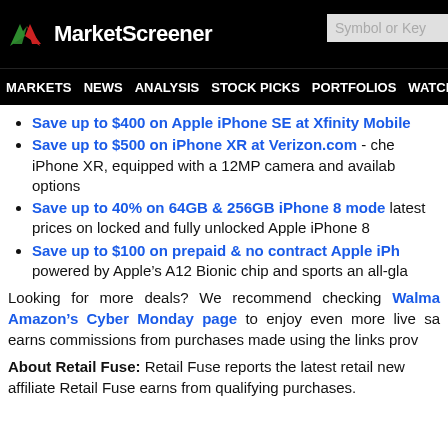MarketScreener | Symbol or Key
MARKETS NEWS ANALYSIS STOCK PICKS PORTFOLIOS WATCHLI
Save up to $400 on Apple iPhone SE at Xfinity Mobile
Save up to $500 on iPhone XR at Verizon.com - che iPhone XR, equipped with a 12MP camera and availab options
Save up to 40% on 64GB & 256GB iPhone 8 mode latest prices on locked and fully unlocked Apple iPhone 8
Save up to $100 on prepaid & no contract Apple iPh powered by Apple's A12 Bionic chip and sports an all-gla
Looking for more deals? We recommend checking Walma Amazon's Cyber Monday page to enjoy even more live sa earns commissions from purchases made using the links prov
About Retail Fuse: Retail Fuse reports the latest retail new affiliate Retail Fuse earns from qualifying purchases.